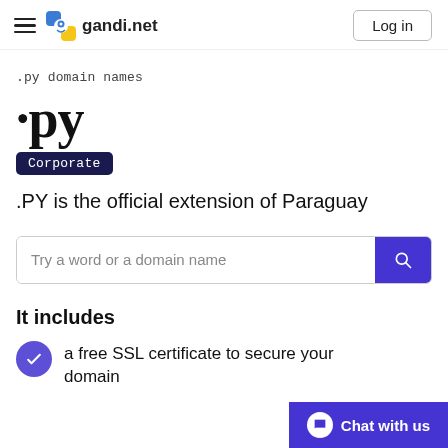gandi.net — Log in
.py domain names
.py
Corporate
.PY is the official extension of Paraguay
Try a word or a domain name
It includes
a free SSL certificate to secure your domain